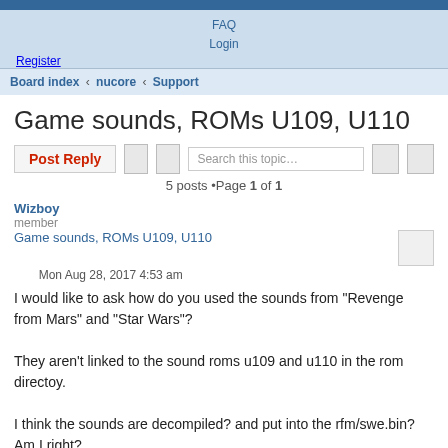FAQ Login Register
Board index ‹ nucore ‹ Support
Game sounds, ROMs U109, U110
Post Reply | Search this topic... | 5 posts •Page 1 of 1
Wizboy
member
Game sounds, ROMs U109, U110
Mon Aug 28, 2017 4:53 am
I would like to ask how do you used the sounds from "Revenge from Mars" and "Star Wars"?

They aren't linked to the sound roms u109 and u110 in the rom directoy.

I think the sounds are decompiled? and put into the rfm/swe.bin? Am I right?
Because I have deleted both sound roms (109,110 from rfm and star wars) and the sounds are already working.